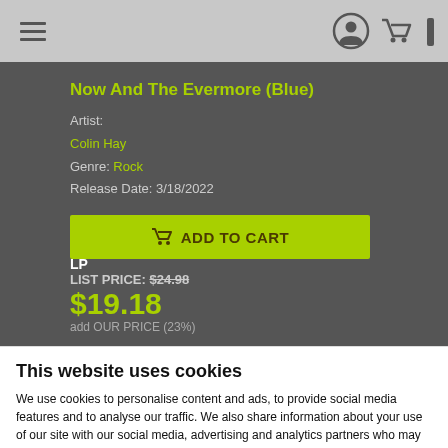Navigation header with hamburger menu and user/cart icons
Now And The Evermore (Blue)
Artist: Colin Hay
Genre: Rock
Release Date: 3/18/2022
ADD TO CART
LP
LIST PRICE: $24.98
$19.18
This website uses cookies
We use cookies to personalise content and ads, to provide social media features and to analyse our traffic. We also share information about your use of our site with our social media, advertising and analytics partners who may combine it with other information that you've provided to them or that they've collected from your use of their services.
OK
Show details